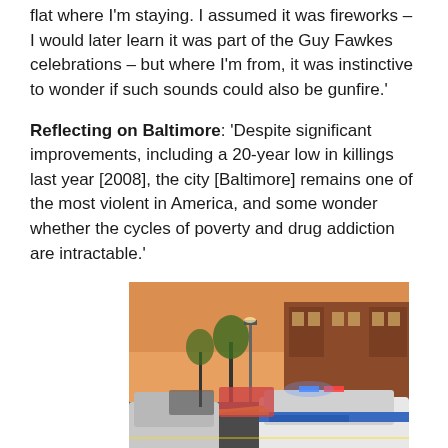flat where I'm staying. I assumed it was fireworks – I would later learn it was part of the Guy Fawkes celebrations – but where I'm from, it was instinctive to wonder if such sounds could also be gunfire.'
Reflecting on Baltimore: 'Despite significant improvements, including a 20-year low in killings last year [2008], the city [Baltimore] remains one of the most violent in America, and some wonder whether the cycles of poverty and drug addiction are intractable.'
[Figure (photo): Street scene photo showing a Baltimore police car with blue lights visible, yellow crime scene tape, and a row of brick townhouses in the background under an orange-tinted sky. Multiple vehicles are visible on the street.]